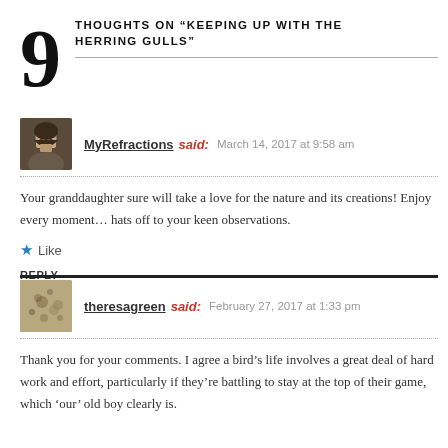9 THOUGHTS ON “KEEPING UP WITH THE HERRING GULLS”
MyRefractions said: March 14, 2017 at 9:58 am
Your granddaughter sure will take a love for the nature and its creations! Enjoy every moment… hats off to your keen observations.
★ Like
REPLY
theresagreen said: February 27, 2017 at 1:33 pm
Thank you for your comments. I agree a bird’s life involves a great deal of hard work and effort, particularly if they’re battling to stay at the top of their game, which ‘our’ old boy clearly is.